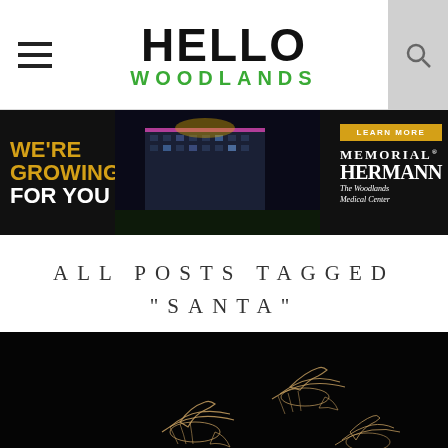HELLO WOODLANDS
[Figure (photo): Memorial Hermann The Woodlands Medical Center advertisement banner with text 'WE'RE GROWING FOR YOU' on left, hospital building lit in blue/purple at night in center, and Memorial Hermann logo with 'LEARN MORE' button on right]
ALL POSTS TAGGED "SANTA"
[Figure (photo): Dark/black background photo showing illuminated bird/swan light sculptures on wires, appearing to be a holiday lights display]